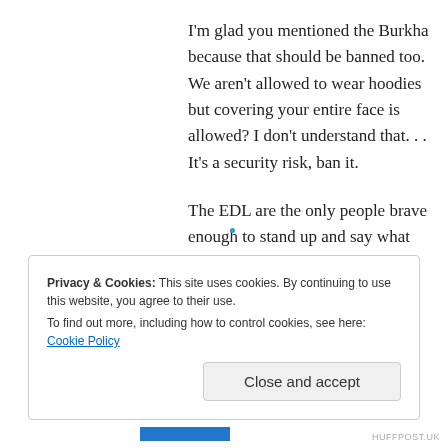I'm glad you mentioned the Burkha because that should be banned too. We aren't allowed to wear hoodies but covering your entire face is allowed? I don't understand that. . . It's a security risk, ban it.
The EDL are the only people brave enough to stand up and say what most working class people who live in Muslim areas really think.
Privacy & Cookies: This site uses cookies. By continuing to use this website, you agree to their use.
To find out more, including how to control cookies, see here: Cookie Policy
Close and accept